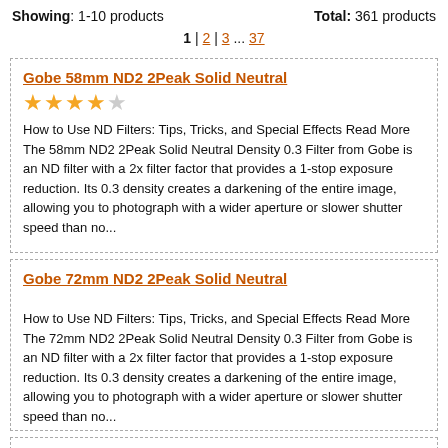Showing: 1-10 products   Total: 361 products
1 | 2 | 3 ... 37
Gobe 58mm ND2 2Peak Solid Neutral
How to Use ND Filters: Tips, Tricks, and Special Effects Read More The 58mm ND2 2Peak Solid Neutral Density 0.3 Filter from Gobe is an ND filter with a 2x filter factor that provides a 1-stop exposure reduction. Its 0.3 density creates a darkening of the entire image, allowing you to photograph with a wider aperture or slower shutter speed than no...
Gobe 72mm ND2 2Peak Solid Neutral
How to Use ND Filters: Tips, Tricks, and Special Effects Read More The 72mm ND2 2Peak Solid Neutral Density 0.3 Filter from Gobe is an ND filter with a 2x filter factor that provides a 1-stop exposure reduction. Its 0.3 density creates a darkening of the entire image, allowing you to photograph with a wider aperture or slower shutter speed than no...
Gobe 40.5mm ND2 2Peak Solid Neutral
How to Use ND Filters: Tips, Tricks, and Special Effects Read